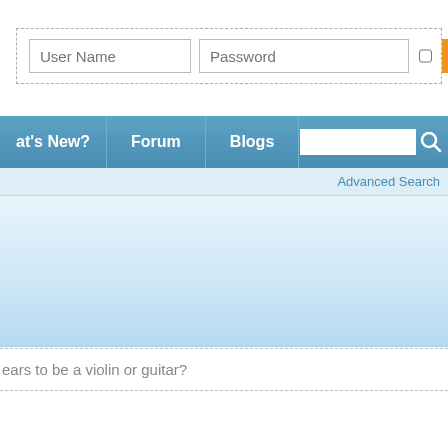[Figure (screenshot): Login bar with User Name text field, Password text field, checkbox, and orange LOGIN button]
[Figure (screenshot): Navigation bar with 'What's New?', 'Forum', 'Blogs' menu items and a search box with magnifier icon]
Advanced Search
[Figure (screenshot): Light blue gradient banner area]
ears to be a violin or guitar?